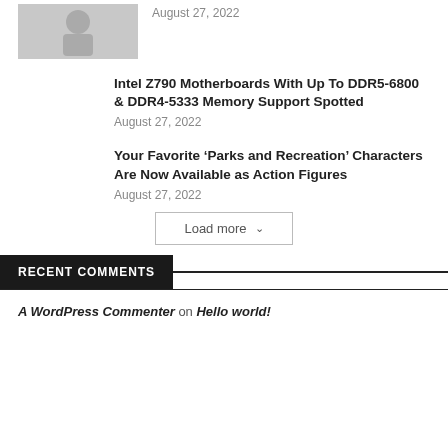[Figure (photo): Thumbnail image placeholder (gray) for a gaming-related article]
August 27, 2022
Intel Z790 Motherboards With Up To DDR5-6800 & DDR4-5333 Memory Support Spotted
August 27, 2022
Your Favorite ‘Parks and Recreation’ Characters Are Now Available as Action Figures
August 27, 2022
Load more
RECENT COMMENTS
A WordPress Commenter on Hello world!